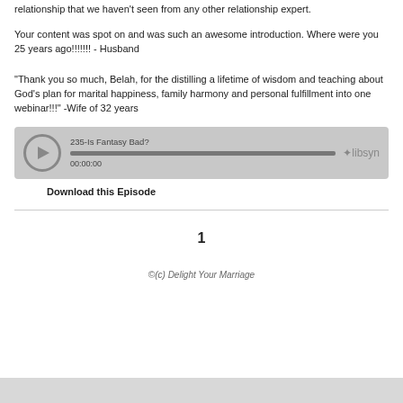relationship that we haven't seen from any other relationship expert.
Your content was spot on and was such an awesome introduction. Where were you 25 years ago!!!!!!! - Husband
"Thank you so much, Belah, for the distilling a lifetime of wisdom and teaching about God’s plan for marital happiness, family harmony and personal fulfillment into one webinar!!!" -Wife of 32 years
[Figure (other): Audio player widget showing episode '235-Is Fantasy Bad?' with progress bar at 00:00:00 and libsyn branding]
Download this Episode
1
©(c) Delight Your Marriage